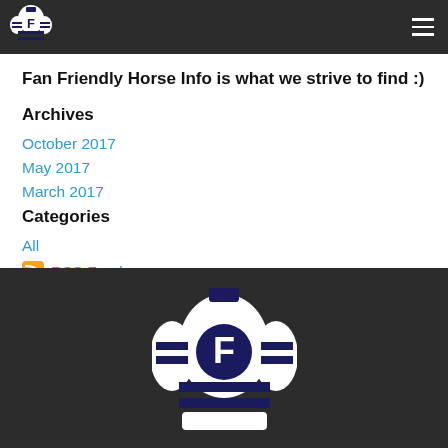Fan Friendly Horse Info [logo + hamburger nav]
Fan Friendly Horse Info is what we strive to find :)
Archives
October 2017
May 2017
March 2017
Categories
All
RSS Feed
[Figure (logo): Fan Friendly horse racing jockey silks logo — white and dark blue jockey jacket with the letter F on the front, displayed large in the dark footer bar]